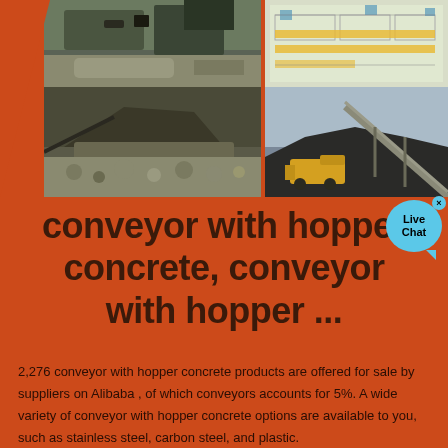[Figure (photo): Four-panel image grid: top-left shows construction/concrete machinery, top-right shows factory floor plan schematic diagram, bottom-left shows mining/crushing equipment with aggregate material, bottom-right shows industrial conveyor belt stacking aggregate/coal with yellow loader vehicle]
conveyor with hopper concrete, conveyor with hopper ...
2,276 conveyor with hopper concrete products are offered for sale by suppliers on Alibaba , of which conveyors accounts for 5%. A wide variety of conveyor with hopper concrete options are available to you, such as stainless steel, carbon steel, and plastic.